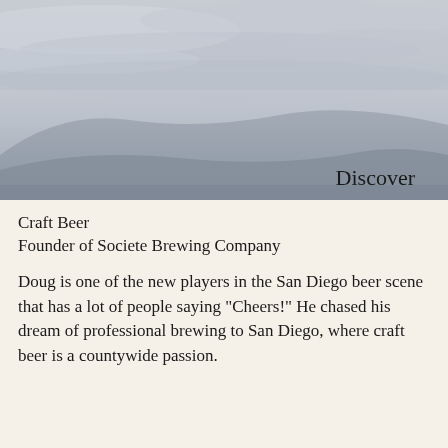[Figure (photo): Misty landscape photo with grey clouds and soft rolling hills or mountains in the background. The word 'Discover' appears in the lower right corner of the image.]
Craft Beer
Founder of Societe Brewing Company
Doug is one of the new players in the San Diego beer scene that has a lot of people saying "Cheers!" He chased his dream of professional brewing to San Diego, where craft beer is a countywide passion.